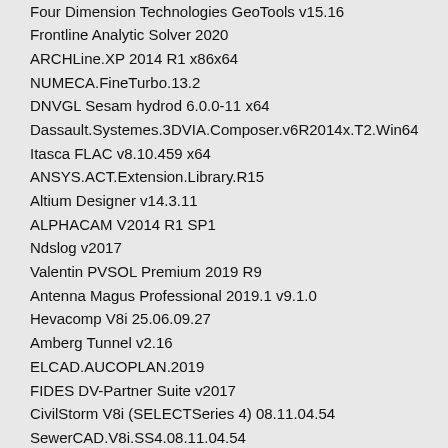Four Dimension Technologies GeoTools v15.16
Frontline Analytic Solver 2020
ARCHLine.XP 2014 R1 x86x64
NUMECA.FineTurbo.13.2
DNVGL Sesam hydrod 6.0.0-11 x64
Dassault.Systemes.3DVIA.Composer.v6R2014x.T2.Win64
Itasca FLAC v8.10.459 x64
ANSYS.ACT.Extension.Library.R15
Altium Designer v14.3.11
ALPHACAM V2014 R1 SP1
Ndslog v2017
Valentin PVSOL Premium 2019 R9
Antenna Magus Professional 2019.1 v9.1.0
Hevacomp V8i 25.06.09.27
Amberg Tunnel v2.16
ELCAD.AUCOPLAN.2019
FIDES DV-Partner Suite v2017
CivilStorm V8i (SELECTSeries 4) 08.11.04.54
SewerCAD.V8i.SS4.08.11.04.54
SewerGEMS.V8i.SS4.08.11.04.54
StormCAD.V8i.SS4.08.11.04.54
GE historain v7.0
Converge.2.4.14.Linux64
CONVERGE_2.4.19_x64
Esko ArtiosCAD v18.0.1 R27